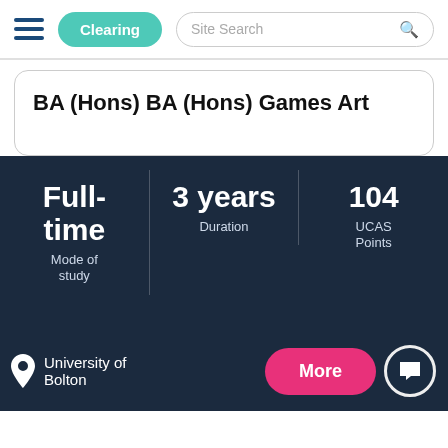Clearing | Site Search
BA (Hons) BA (Hons) Games Art
Full-time | Mode of study
3 years | Duration
104 | UCAS Points
University of Bolton
More